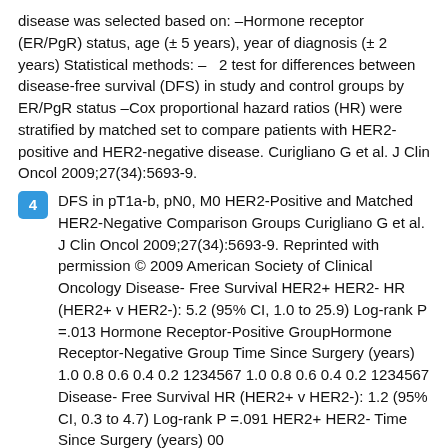disease was selected based on: –Hormone receptor (ER/PgR) status, age (± 5 years), year of diagnosis (± 2 years) Statistical methods: –  2 test for differences between disease-free survival (DFS) in study and control groups by ER/PgR status –Cox proportional hazard ratios (HR) were stratified by matched set to compare patients with HER2-positive and HER2-negative disease. Curigliano G et al. J Clin Oncol 2009;27(34):5693-9.
4  DFS in pT1a-b, pN0, M0 HER2-Positive and Matched HER2-Negative Comparison Groups Curigliano G et al. J Clin Oncol 2009;27(34):5693-9. Reprinted with permission © 2009 American Society of Clinical Oncology Disease- Free Survival HER2+ HER2- HR (HER2+ v HER2-): 5.2 (95% CI, 1.0 to 25.9) Log-rank P =.013 Hormone Receptor-Positive GroupHormone Receptor-Negative Group Time Since Surgery (years) 1.0 0.8 0.6 0.4 0.2 1234567 1.0 0.8 0.6 0.4 0.2 1234567 Disease- Free Survival HR (HER2+ v HER2-): 1.2 (95% CI, 0.3 to 4.7) Log-rank P =.091 HER2+ HER2- Time Since Surgery (years) 00
5  Results (median follow-up 4.6 years) Survival Hormone Receptor-Negative Hormone Receptor-Positive HER2-Positive (n=71) HER2- Negative (n=71) HER2- Positive (n=79)